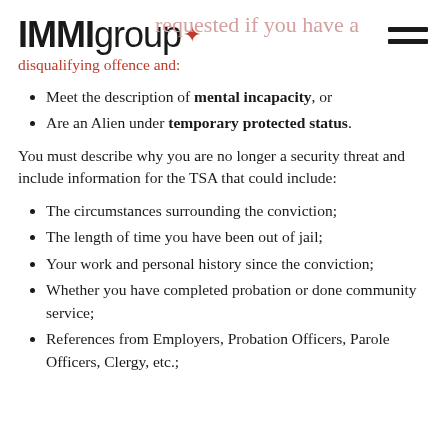IMMIgroup [logo] requested if you have a disqualifying offence and:
Meet the description of mental incapacity, or
Are an Alien under temporary protected status.
You must describe why you are no longer a security threat and include information for the TSA that could include:
The circumstances surrounding the conviction;
The length of time you have been out of jail;
Your work and personal history since the conviction;
Whether you have completed probation or done community service;
References from Employers, Probation Officers, Parole Officers, Clergy, etc.;